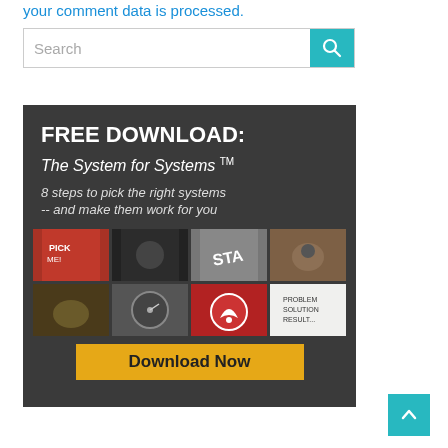your comment data is processed.
[Figure (screenshot): Search bar with teal search button and magnifying glass icon]
[Figure (infographic): Dark grey advertisement banner: FREE DOWNLOAD: The System for Systems TM. 8 steps to pick the right systems -- and make them work for you. Grid of 8 small photos. Download Now yellow button.]